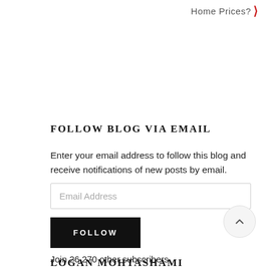Home Prices?
FOLLOW BLOG VIA EMAIL
Enter your email address to follow this blog and receive notifications of new posts by email.
Email Address
FOLLOW
Join 26,270 other subscribers
LOGAN MOHTASHAMI